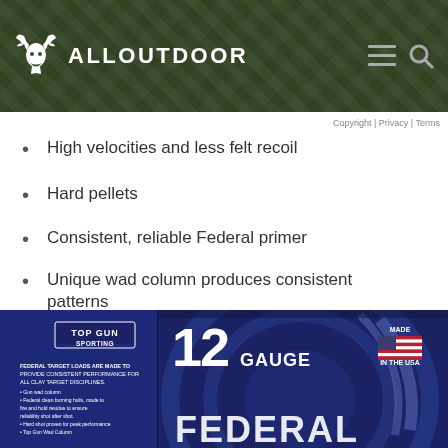ALLOUTDOOR
Copyright | Privacy | Terms
High velocities and less felt recoil
Hard pellets
Consistent, reliable Federal primer
Unique wad column produces consistent patterns
[Figure (photo): Federal Top Gun Sporting 12 Gauge ammunition box, blue packaging with '12 GAUGE' prominently displayed, 'TOP GUN SPORTING' logo, 'MADE IN THE USA' text with American flag, and 'FEDERAL' text at the bottom.]